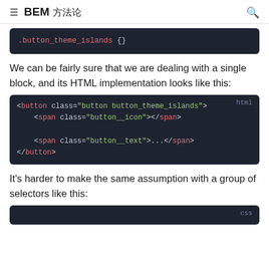≡  BEM 方法论  🔍
[Figure (screenshot): CSS code block showing: .button_theme_islands {}]
We can be fairly sure that we are dealing with a single block, and its HTML implementation looks like this:
[Figure (screenshot): HTML code block showing: <button class="button button_theme_islands">  <span class="button__icon"></span>  <span class="button__text">...</span> </button>]
It's harder to make the same assumption with a group of selectors like this:
[Figure (screenshot): CSS code block (partial, bottom of page)]